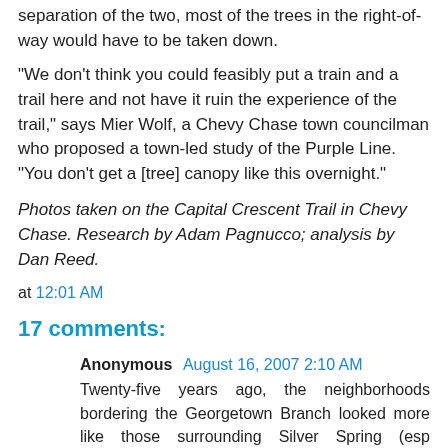separation of the two, most of the trees in the right-of-way would have to be taken down.
"We don't think you could feasibly put a train and a trail here and not have it ruin the experience of the trail," says Mier Wolf, a Chevy Chase town councilman who proposed a town-led study of the Purple Line. "You don't get a [tree] canopy like this overnight."
Photos taken on the Capital Crescent Trail in Chevy Chase. Research by Adam Pagnucco; analysis by Dan Reed.
at 12:01 AM
17 comments:
Anonymous  August 16, 2007 2:10 AM
Twenty-five years ago, the neighborhoods bordering the Georgetown Branch looked more like those surrounding Silver Spring (esp Woodside). Today the area is home to the elite of Montgomery County and Washington. There